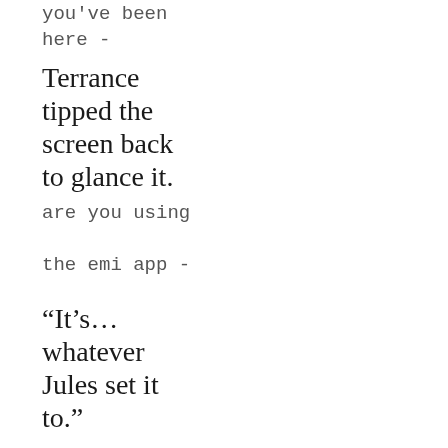you've been here -
Terrance tipped the screen back to glance it.
are you using the emi app -
“It’s… whatever Jules set it to.”
Terrance laughed. this